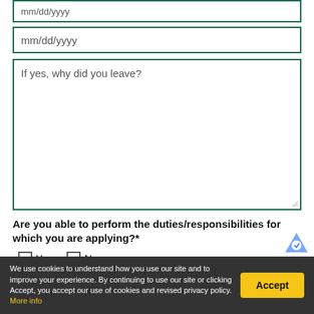mm/dd/yyyy
mm/dd/yyyy
If yes, why did you leave?
Are you able to perform the duties/responsibilities for which you are applying?*
Yes  No
If accommodations are required, please clarify?
We use cookies to understand how you use our site and to improve your experience. By continuing to use our site or clicking Accept, you accept our use of cookies and revised privacy policy. More info